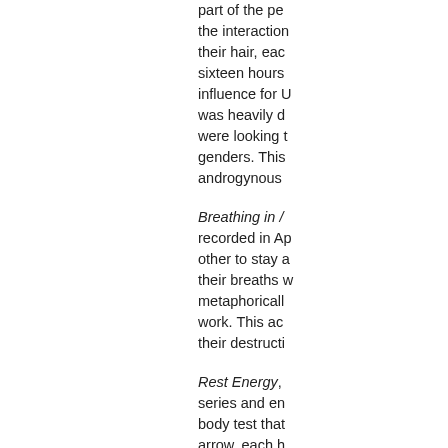part of the pe the interaction their hair, eac sixteen hours influence for U was heavily d were looking t genders. This androgynous
Breathing in / recorded in Ap other to stay a their breaths w metaphoricall work. This ac their destructi
Rest Energy, series and en body test that arrow, each h creating a de heartbeats an
Nightsea Cros 1981 and 198 museum, som clothing varie chairs. The ar